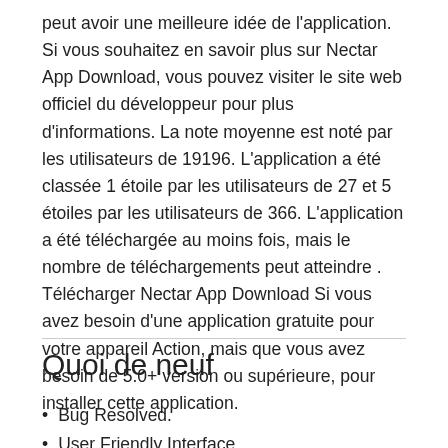peut avoir une meilleure idée de l'application. Si vous souhaitez en savoir plus sur Nectar App Download, vous pouvez visiter le site web officiel du développeur pour plus d'informations. La note moyenne est noté par les utilisateurs de 19196. L'application a été classée 1 étoile par les utilisateurs de 27 et 5 étoiles par les utilisateurs de 366. L'application a été téléchargée au moins fois, mais le nombre de téléchargements peut atteindre . Télécharger Nectar App Download Si vous avez besoin d'une application gratuite pour votre appareil Action, mais que vous avez besoin de 5.0+ version ou supérieure, pour installer cette application.
Quoi de neuf
Bug Resolved.
User Friendly Interface.